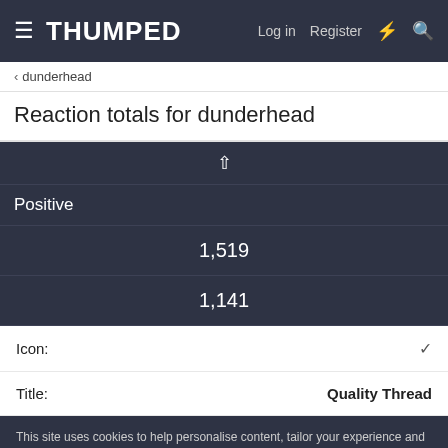THUMPED — Log in | Register
< dunderhead
Reaction totals for dunderhead
| ↑ | Positive | 1,519 | 1,141 |
| --- | --- | --- | --- |
Icon: ✓
Title: Quality Thread
This site uses cookies to help personalise content, tailor your experience and to keep you logged in if you register.
By continuing to use this site, you are consenting to our use of cookies.
✓ Accept   Learn more...